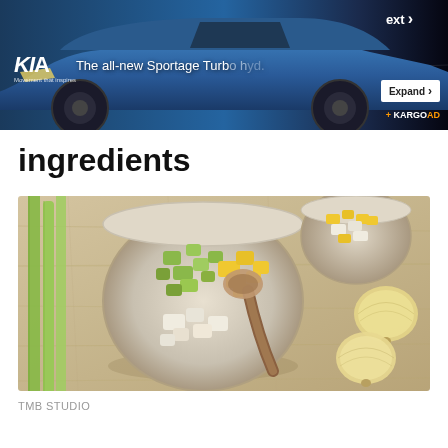[Figure (photo): Advertisement banner for Kia Sportage Turbo car with blue vehicle on dark background, showing 'The all-new Sportage Turbo' text, Expand button, KIA logo, and KARGO AD label]
ingredients
[Figure (photo): Overhead photo of a bowl with chopped celery, onions, and other ingredients being mixed with a wooden spoon, with celery stalks on the left and whole onions on the right, all on a wooden surface]
TMB STUDIO